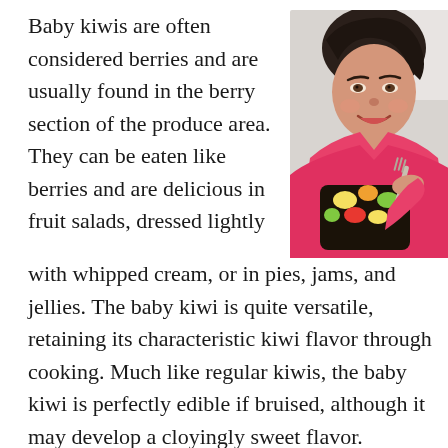Baby kiwis are often considered berries and are usually found in the berry section of the produce area. They can be eaten like berries and are delicious in fruit salads, dressed lightly with whipped cream, or in pies, jams, and jellies. The baby kiwi is quite versatile, retaining its characteristic kiwi flavor through cooking. Much like regular kiwis, the baby kiwi is perfectly edible if bruised, although it may develop a cloyingly sweet flavor.
[Figure (photo): A smiling woman in a pink top holding a dark bowl of colorful fruit salad with a fork, photographed from above]